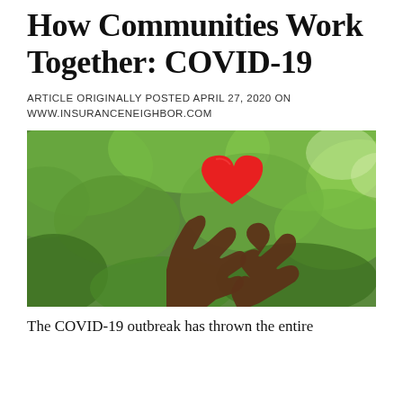How Communities Work Together: COVID-19
ARTICLE ORIGINALLY POSTED APRIL 27, 2020 ON WWW.INSURANCENEIGHBOR.COM
[Figure (photo): Two dark-skinned hands holding up a red paper heart shape against a blurred green leafy background outdoors.]
The COVID-19 outbreak has thrown the entire